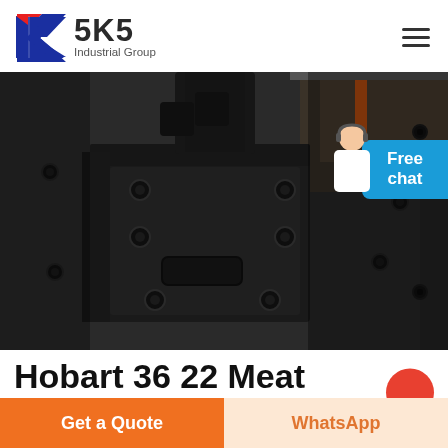[Figure (logo): SKS Industrial Group logo with K letter mark in red and blue]
[Figure (photo): Close-up industrial photo of a heavy metal bracket or mounting plate with bolt studs, painted dark grey/black, mounted on a large metal surface in a factory setting]
Hobart 36 22 Meat Grinder / Cl... 000/010
Get a Quote
WhatsApp